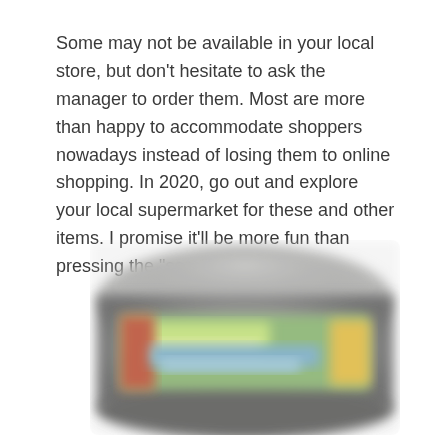Some may not be available in your local store, but don’t hesitate to ask the manager to order them. Most are more than happy to accommodate shoppers nowadays instead of losing them to online shopping. In 2020, go out and explore your local supermarket for these and other items. I promise it’ll be more fun than pressing the “send” button.
[Figure (photo): A blurred photograph of what appears to be a food product container or packaging, shown from an angle, with colorful label graphics visible but indistinct due to blur.]